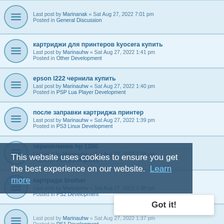Last post by Marinanak « Sat Aug 27, 2022 7:01 pm
Posted in General Discussion
картриджи для принтеров kyocera купить
Last post by Marinauhw « Sat Aug 27, 2022 1:41 pm
Posted in Other Development
epson l222 чернила купить
Last post by Marinauhw « Sat Aug 27, 2022 1:40 pm
Posted in PSP Lua Player Development
после заправки картриджа принтер
Last post by Marinauhw « Sat Aug 27, 2022 1:39 pm
Posted in PS3 Linux Development
термопленка hp 1200
Last post by Marinauhw « Sat Aug 27, 2022 1:38 pm
Posted in PS3 Development
картридж brother
Last post by Marinauhw « Sat Aug 27, 2022 1:38 pm
Posted in PS2 Development
Last post by Marinauhw « Sat Aug 27, 2022 1:37 pm
Posted in PS1 Development
чернила для принтера epson l
Last post by Marinauhw « Sat Aug 27, 2022 1:36 pm
Posted in Patch Submissions
куосера неправильно установлен картридж
Last post by Marinauhw « Sat Aug 27, 2022 1:35 pm
Posted in General Discussion
This website uses cookies to ensure you get the best experience on our website. Learn more
Got it!